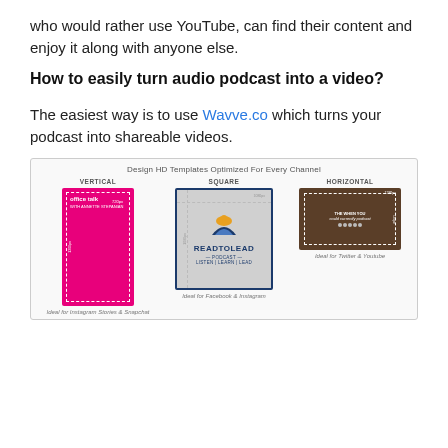who would rather use YouTube, can find their content and enjoy it along with anyone else.
How to easily turn audio podcast into a video?
The easiest way is to use Wavve.co which turns your podcast into shareable videos.
[Figure (screenshot): Screenshot of Wavve.co interface showing HD template options for vertical, square, and horizontal podcast video formats. Vertical shows 'Office Talk' podcast card (ideal for Instagram Stories & Snapchat), Square shows 'Read to Lead Podcast' card (ideal for Facebook & Instagram), Horizontal shows a card (ideal for Twitter & Youtube).]